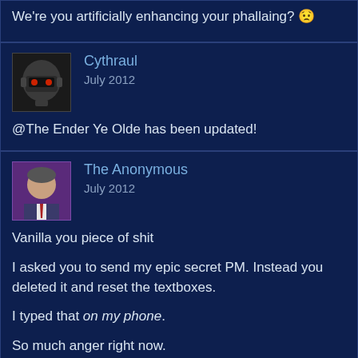We're you artificially enhancing your phallaing? 😟
Cythraul
July 2012

@The Ender Ye Olde has been updated!
The Anonymous
July 2012

Vanilla you piece of shit

I asked you to send my epic secret PM. Instead you deleted it and reset the textboxes.

I typed that on my phone.

So much anger right now.